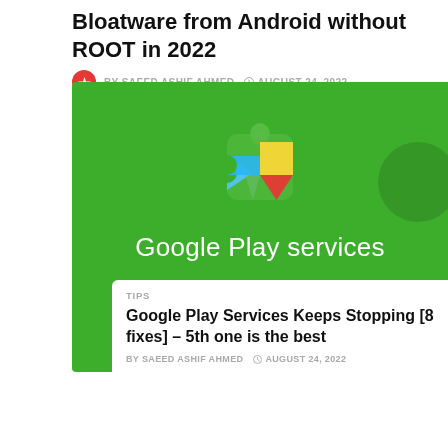Bloatware from Android without ROOT in 2022
BY SAEED ASHIF AHMED   AUGUST 24, 2022
[Figure (illustration): Google Play Services promotional image on green background with puzzle-piece logo in blue, yellow, red, green colors and white text 'Google Play services']
TIPS
Google Play Services Keeps Stopping [8 fixes] – 5th one is the best
BY SAEED ASHIF AHMED   AUGUST 24, 2022